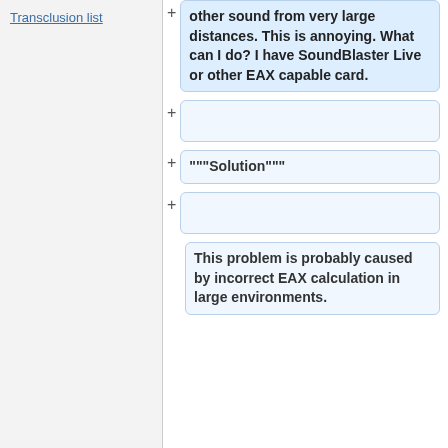Transclusion list
other sound from very large distances. This is annoying. What can I do? I have SoundBlaster Live or other EAX capable card.
"""Solution"""
This problem is probably caused by incorrect EAX calculation in large environments.